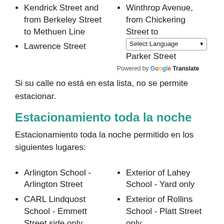Kendrick Street and from Berkeley Street to Methuen Line
Lawrence Street
Winthrop Avenue, from Chickering Street to Parker Street
Si su calle no está en esta lista, no se permite estacionar.
Estacionamiento toda la noche
Estacionamiento toda la noche permitido en los siguientes lugares:
Arlington School - Arlington Street
CARL Lindquost School - Emmett Street side only
Exterior of Lahey School - Yard only
Exterior of Rollins School - Platt Street only